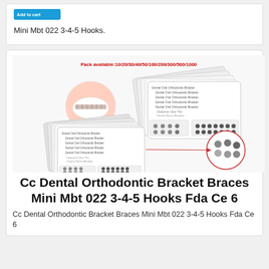[Figure (other): Blue button/badge at top of card]
Mini Mbt 022 3-4-5 Hooks.
[Figure (photo): Product image showing orthodontic bracket braces packaging with teeth photo and bracket detail callout, red text: Pack available:10/20/30/40/50/100/200/300/500/1000]
Cc Dental Orthodontic Bracket Braces Mini Mbt 022 3-4-5 Hooks Fda Ce 6
Cc Dental Orthodontic Bracket Braces Mini Mbt 022 3-4-5 Hooks Fda Ce 6